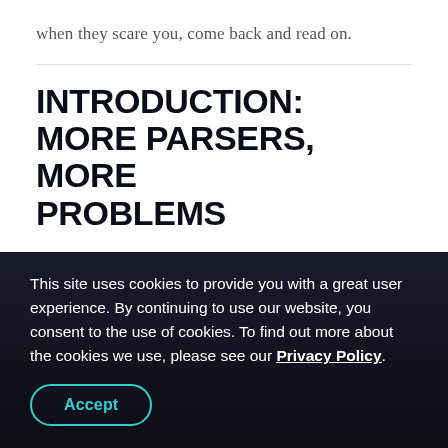when they scare you, come back and read on.
INTRODUCTION: MORE PARSERS, MORE PROBLEMS
JSON is the backbone of web application communication. Th...
This site uses cookies to provide you with a great user experience. By continuing to use our website, you consent to the use of cookies. To find out more about the cookies we use, please see our Privacy Policy.
Accept